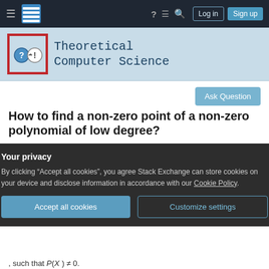Theoretical Computer Science Stack Exchange - navigation bar
[Figure (logo): Theoretical Computer Science Stack Exchange site logo with question mark and exclamation mark icons]
How to find a non-zero point of a non-zero polynomial of low degree?
Asked 6 years, 7 months ago   Modified 6 years, 7 months ago
Viewed 306 times
Your privacy
By clicking “Accept all cookies”, you agree Stack Exchange can store cookies on your device and disclose information in accordance with our Cookie Policy.
, such that P(X ) ≠ 0.